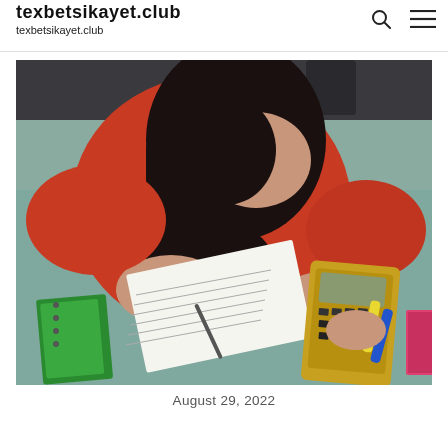texbetsikayet.club
texbetsikayet.club
[Figure (photo): Overhead view of a young woman in a red top sitting at a teal desk, writing on a paper worksheet with a pen in her left hand while using a graphing calculator (yellow/black) with her right hand. A green spiral notebook, highlighters (blue, yellow), and a pink book are also visible on the desk.]
August 29, 2022